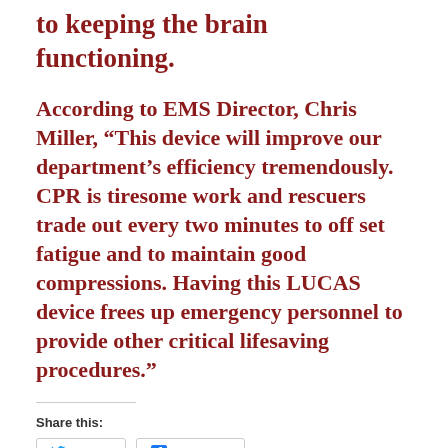to keeping the brain functioning.
According to EMS Director, Chris Miller, “This device will improve our department’s efficiency tremendously. CPR is tiresome work and rescuers trade out every two minutes to off set fatigue and to maintain good compressions. Having this LUCAS device frees up emergency personnel to provide other critical lifesaving procedures.”
Share this:
Twitter
Facebook
Like this: